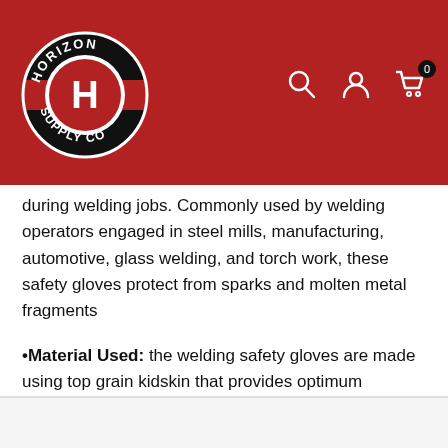[Figure (logo): Horizon Supply Co. circular logo with a red and black background and white H in the center]
during welding jobs. Commonly used by welding operators engaged in steel mills, manufacturing, automotive, glass welding, and torch work, these safety gloves protect from sparks and molten metal fragments
•Material Used: the welding safety gloves are made using top grain kidskin that provides optimum dexterity and comfort
•Heat Protection: the top grain kidskin gloves feature
+ View more